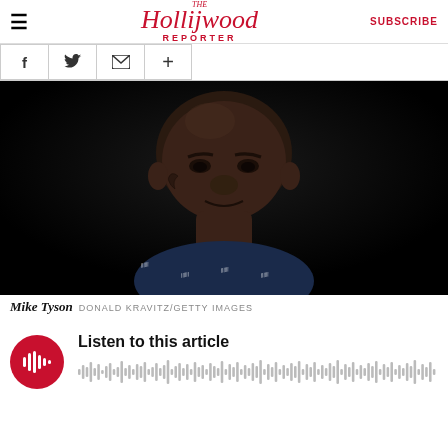The Hollywood Reporter  SUBSCRIBE
[Figure (illustration): Four social share buttons: Facebook (f), Twitter (bird), Email (envelope), More (+)]
[Figure (photo): Close-up portrait photo of Mike Tyson against a dark background, wearing a navy blue patterned shirt with script text print, looking forward with a slight smile]
Mike Tyson  DONALD KRAVITZ/GETTY IMAGES
[Figure (other): Audio player widget with red circular play button with sound wave icon and text 'Listen to this article' with waveform visualization]